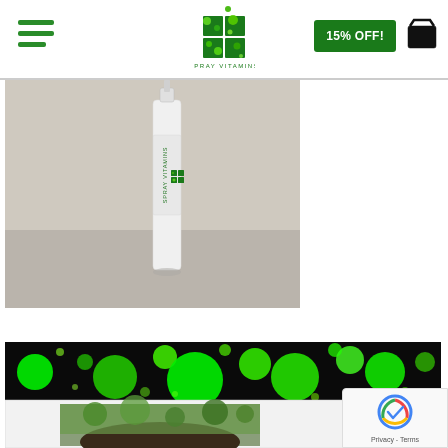[Figure (screenshot): Website header with hamburger menu icon on left, Spray Vitamins green molecule logo in center, green '15% OFF!' button, and shopping cart icon on right]
[Figure (photo): Product photo of a white spray vitamin bottle leaning against a beige/cream wall]
[Figure (photo): Bottom section showing a dark green banner with bright green bubble/molecule pattern, and below it a white card area with a person's photo partially visible]
[Figure (other): Google reCAPTCHA badge in bottom right corner showing Privacy - Terms text]